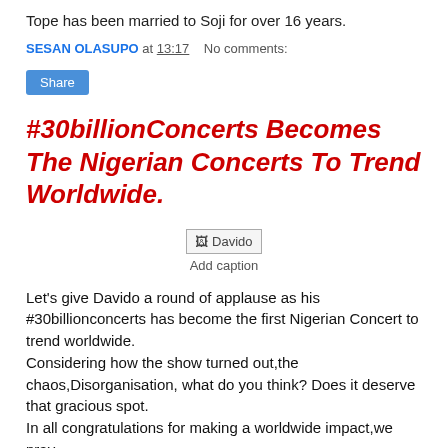Tope has been married to Soji for over 16 years.
SESAN OLASUPO at 13:17   No comments:
Share
#30billionConcerts Becomes The Nigerian Concerts To Trend Worldwide.
[Figure (photo): Placeholder image labeled 'Davido']
Add caption
Let's give Davido a round of applause as his #30billionconcerts has become the first Nigerian Concert to trend worldwide.
Considering how the show turned out,the chaos,Disorganisation, what do you think? Does it deserve that gracious spot.
In all congratulations for making a worldwide impact,we pray